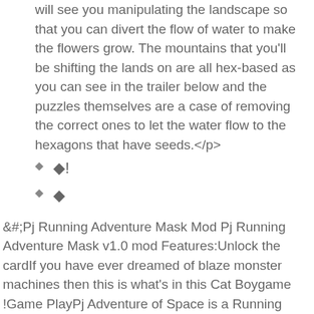will see you manipulating the landscape so that you can divert the flow of water to make the flowers grow. The mountains that you'll be shifting the lands on are all hex-based as you can see in the trailer below and the puzzles themselves are a case of removing the correct ones to let the water flow to the hexagons that have seeds.</p>
�!
�
&#;Pj Running Adventure Mask Mod Pj Running Adventure Mask v1.0 mod Features:Unlock the cardIf you have ever dreamed of blaze monster machines then this is what's in this Cat Boygame !Game PlayPj Adventure of Space is a Running game with a challenging hillside of Space and adds